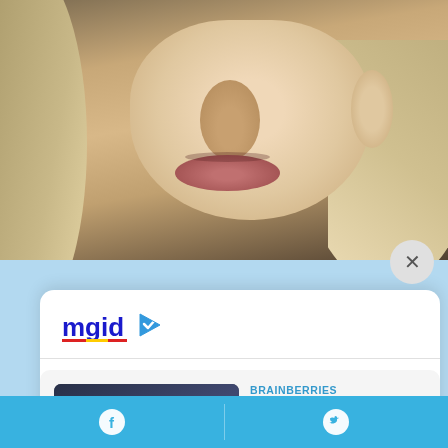[Figure (photo): Close-up photo of a young blonde woman's face, showing nose, lips and ear area, with blurred green background]
[Figure (logo): MGID logo with blue 'mgid' text and a play button icon in blue, red and yellow colors]
[Figure (photo): Thumbnail photo of two men in formal attire embracing or hugging]
BRAINBERRIES
Boric Intends To Build A European-Style Social Democracy In Chile
[Figure (photo): Thumbnail photo of a woman standing against a stone wall with a small window]
BRAINBERRIES
The Story Of The Small Italy Windows In The Walls Is Rather Grim
Facebook share | Twitter share